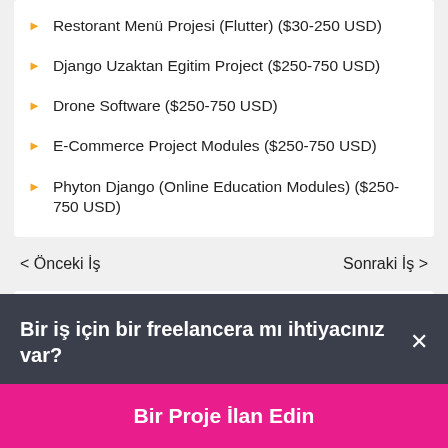Restorant Menü Projesi (Flutter) ($30-250 USD)
Django Uzaktan Egitim Project ($250-750 USD)
Drone Software ($250-750 USD)
E-Commerce Project Modules ($250-750 USD)
Phyton Django (Online Education Modules) ($250-750 USD)
< Önceki İş
Sonraki İş >
Bir iş için bir freelancera mı ihtiyacınız var? ×
Bir Proje İlan Edin